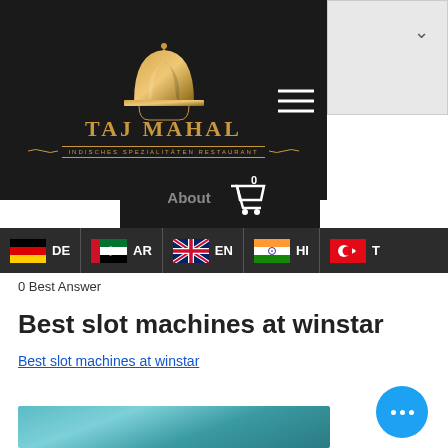[Figure (logo): Taj Mahal Indisches Spezialitäten Restaurant logo with golden dome and text on dark background]
[Figure (screenshot): Language selection bar with flags: DE (Germany), AR (UAE), EN (UK), HI (India), T... (Turkey)]
0 Best Answer
Best slot machines at winstar
Best slot machines at winstar
[Figure (photo): Blurred/partial photo at bottom of page with teal/turquoise colors]